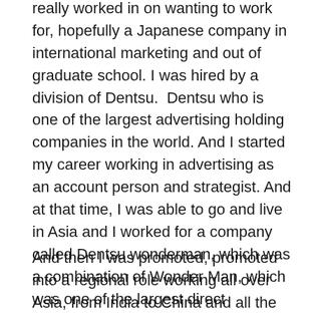really worked in on wanting to work for, hopefully a Japanese company in international marketing and out of graduate school. I was hired by a division of Dentsu.  Dentsu who is one of the largest advertising holding companies in the world. And I started my career working in advertising as an account person and strategist. And at that time, I was able to go and live in Asia and I worked for a company called Dentsu wonderman, which was a combination of Wonder Man, which was one of the largest direct marketing agencies in the world at that time. And I worked on accounts like IBM and Microsoft, and at&t and several others.
And then I was promoted, promoted into a regional role working all over Asia, from India to China and all the countries in between. And it was amazing to